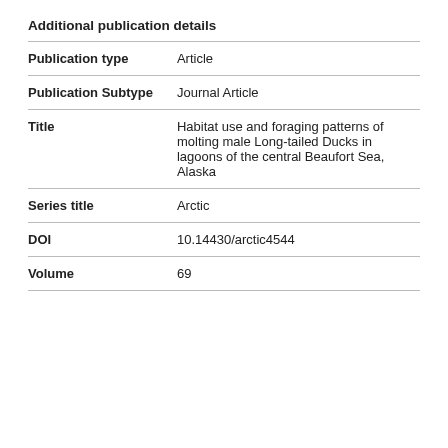Additional publication details
| Publication type | Article |
| Publication Subtype | Journal Article |
| Title | Habitat use and foraging patterns of molting male Long-tailed Ducks in lagoons of the central Beaufort Sea, Alaska |
| Series title | Arctic |
| DOI | 10.14430/arctic4544 |
| Volume | 69 |